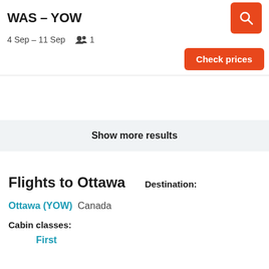WAS – YOW
4 Sep – 11 Sep   🧑‍🤝‍🧑 1
Check prices
Show more results
Flights to Ottawa
Destination:
Ottawa (YOW)   Canada
Cabin classes:
First